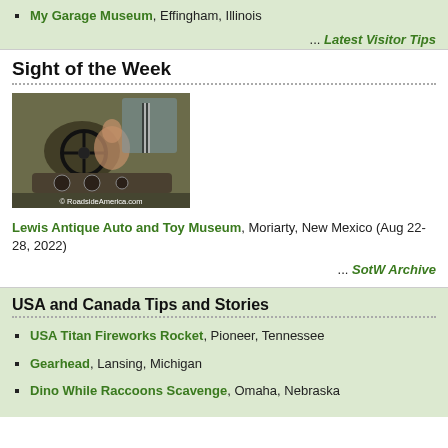My Garage Museum, Effingham, Illinois
... Latest Visitor Tips
Sight of the Week
[Figure (photo): Interior of a vintage car cockpit, showing steering wheel and dashboard, with a watermark reading © RoadsideAmerica.com]
Lewis Antique Auto and Toy Museum, Moriarty, New Mexico (Aug 22-28, 2022)
... SotW Archive
USA and Canada Tips and Stories
USA Titan Fireworks Rocket, Pioneer, Tennessee
Gearhead, Lansing, Michigan
Dino While Raccoons Scavenge, Omaha, Nebraska